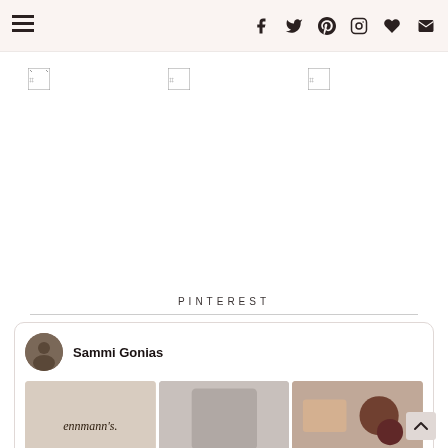Navigation and social icons bar
[Figure (screenshot): Three broken image placeholders in a row]
PINTEREST
[Figure (screenshot): Pinterest widget card with profile avatar for Sammi Gonias and three pin image thumbnails]